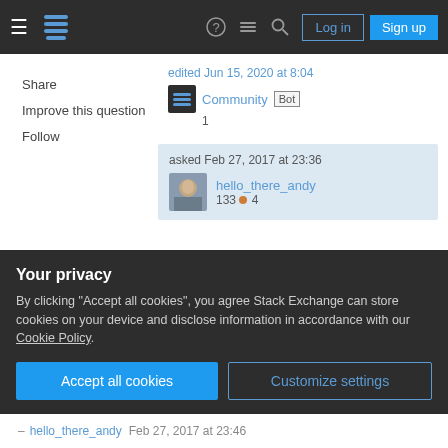Stack Exchange navigation bar with Log in and Sign up buttons
Share
Improve this question
Follow
edited Jun 15, 2020 at 8:04
Community Bot
1
asked Feb 27, 2017 at 23:36
hello_there_andy
133 4
1    If /usr/bin/git is supposed to be after /usr/local/bin , then use export
Your privacy
By clicking "Accept all cookies", you agree Stack Exchange can store cookies on your device and disclose information in accordance with our Cookie Policy.
Accept all cookies   Customize settings
– hello_there_andy  Feb 27, 2017 at 23:46